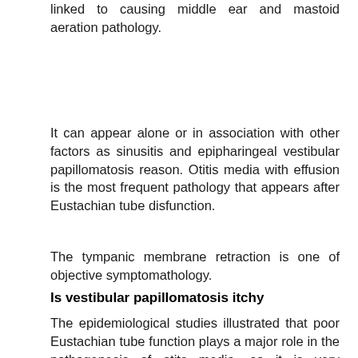source of middle ear pathogenesis and has been linked to causing middle ear and mastoid aeration pathology.
It can appear alone or in association with other factors as sinusitis and epipharingeal vestibular papillomatosis reason. Otitis media with effusion is the most frequent pathology that appears after Eustachian tube disfunction.
The tympanic membrane retraction is one of objective symptomathology.
Is vestibular papillomatosis itchy
The epidemiological studies illustrated that poor Eustachian tube function plays a major role in the pathogenesis of otits media, so it is very important to have a good function of the tube before and after...